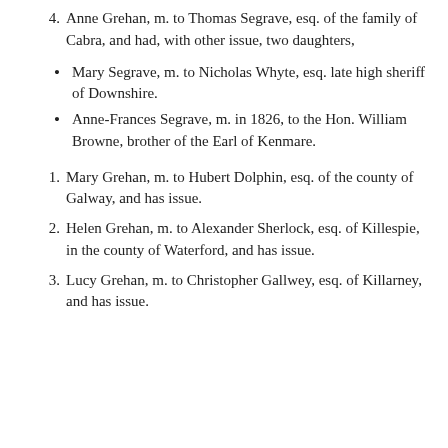4. Anne Grehan, m. to Thomas Segrave, esq. of the family of Cabra, and had, with other issue, two daughters,
Mary Segrave, m. to Nicholas Whyte, esq. late high sheriff of Downshire.
Anne-Frances Segrave, m. in 1826, to the Hon. William Browne, brother of the Earl of Kenmare.
1. Mary Grehan, m. to Hubert Dolphin, esq. of the county of Galway, and has issue.
2. Helen Grehan, m. to Alexander Sherlock, esq. of Killespie, in the county of Waterford, and has issue.
3. Lucy Grehan, m. to Christopher Gallwey, esq. of Killarney, and has issue.